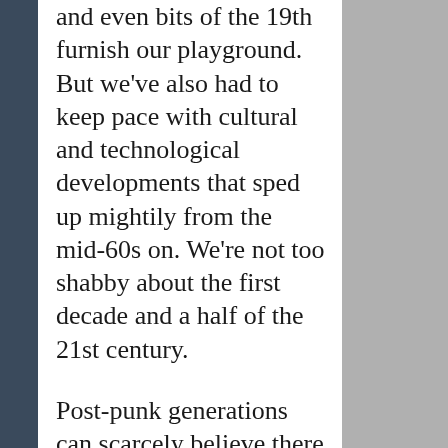and even bits of the 19th furnish our playground.  But we've also had to keep pace with cultural and technological developments that sped up mightily from the mid-60s on. We're not too shabby about the first decade and a half of the 21st century.
Post-punk generations can scarcely believe there was ever a world without everyone and